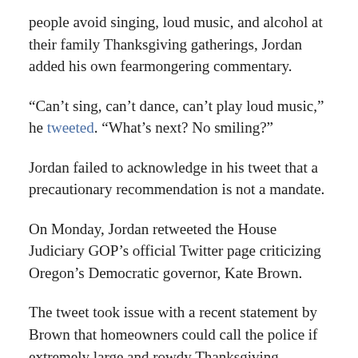people avoid singing, loud music, and alcohol at their family Thanksgiving gatherings, Jordan added his own fearmongering commentary.
“Can’t sing, can’t dance, can’t play loud music,” he tweeted. “What’s next? No smiling?”
Jordan failed to acknowledge in his tweet that a precautionary recommendation is not a mandate.
On Monday, Jordan retweeted the House Judiciary GOP’s official Twitter page criticizing Oregon’s Democratic governor, Kate Brown.
The tweet took issue with a recent statement by Brown that homeowners could call the police if extremely large and rowdy Thanksgiving celebrations occurred in their